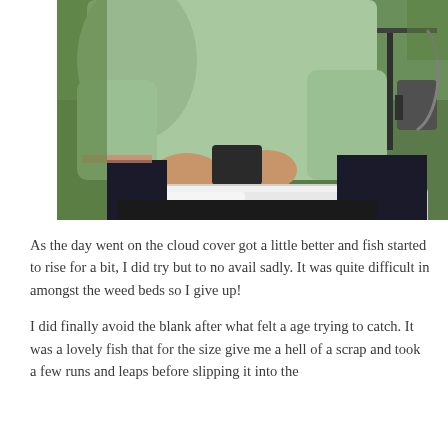[Figure (photo): A person in a mint/light green long-sleeve shirt sits outdoors on grass, working with equipment on a white plastic tray/container placed on a dark bag or cooler. The tray contains dark items and tools including what appears to be a yellow ruler. Green grass and some equipment visible in background.]
As the day went on the cloud cover got a little better and fish started to rise for a bit, I did try but to no avail sadly. It was quite difficult in amongst the weed beds so I give up!
I did finally avoid the blank after what felt a age trying to catch. It was a lovely fish that for the size give me a hell of a scrap and took a few runs and leaps before slipping it into the